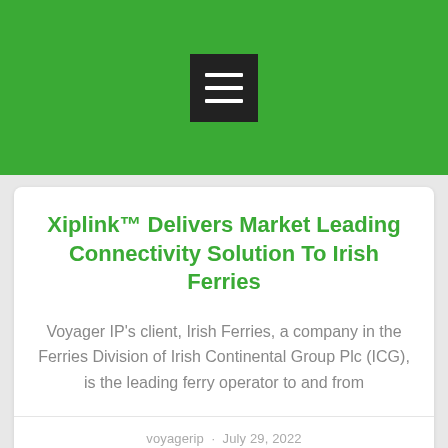[Figure (other): Green header bar with hamburger menu icon (three white horizontal lines on dark square button)]
Xiplink™ Delivers Market Leading Connectivity Solution To Irish Ferries
Voyager IP's client, Irish Ferries, a company in the Ferries Division of Irish Continental Group Plc (ICG), is the leading ferry operator to and from
voyagerip · July 29, 2022
Uncategorized